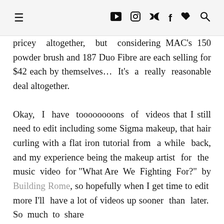☰  ▶  📷  🐦  f  ♥  🔍
pricey altogether, but considering MAC's 150 powder brush and 187 Duo Fibre are each selling for $42 each by themselves… It's a really reasonable deal altogether.
Okay, I have toooooooons of videos that I still need to edit including some Sigma makeup, that hair curling with a flat iron tutorial from a while back, and my experience being the makeup artist for the music video for "What Are We Fighting For?" by Building Rome, so hopefully when I get time to edit more I'll have a lot of videos up sooner than later. So much to share